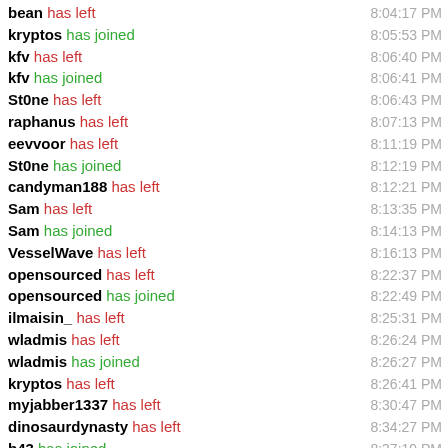bean has left 8:04:17 PM
kryptos has joined 8:05:53 PM
kfv has left 8:06:40 PM
kfv has joined 8:06:41 PM
St0ne has left 8:06:43 PM
raphanus has left 8:07:13 PM
eevvoor has left 8:11:19 PM
St0ne has joined 8:12:19 PM
candyman188 has left 8:12:21 PM
Sam has left 8:13:35 PM
Sam has joined 8:14:13 PM
VesselWave has left 8:16:13 PM
opensourced has left 8:22:37 PM
opensourced has joined 8:22:49 PM
ilmaisin_ has left 8:25:31 PM
wladmis has left 8:26:24 PM
wladmis has joined 8:26:27 PM
kryptos has left 8:26:41 PM
myjabber1337 has left 8:30:47 PM
dinosaurdynasty has left 8:34:27 PM
b43 has joined 8:37:19 PM
Վարյա has left 8:37:55 PM
ein5ein5zwei8 has joined 8:40:11 PM
ein5ein5zwei8 has left 8:40:24 PM
Վարյա has joined 8:41:59 PM